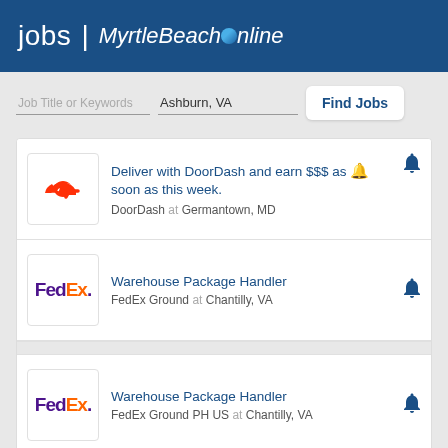jobs | MyrtleBeachOnline
Job Title or Keywords  Ashburn, VA  Find Jobs
Deliver with DoorDash and earn $$$ as soon as this week. DoorDash at Germantown, MD
Warehouse Package Handler. FedEx Ground at Chantilly, VA
Warehouse Package Handler. FedEx Ground PH US at Chantilly, VA
Caviar Delivery Driver